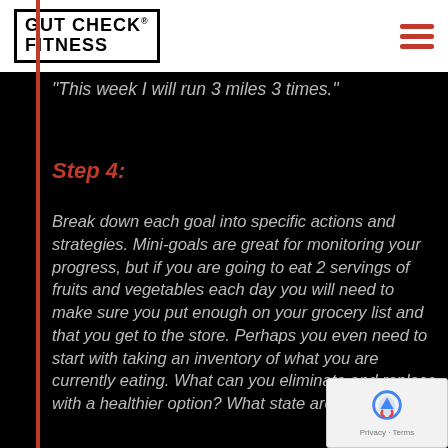GUT CHECK FITNESS
"This week I will run 3 miles 3 times."
Step 4:
Break down each goal into specific actions and strategies.  Mini-goals are great for monitoring your progress, but if you are going to eat 2 servings of fruits and vegetables each day you will need to make sure you put enough on your grocery list and that you get to the store.  Perhaps you even need to start with taking an inventory of what you are currently eating.  What can you eliminate and replace with a healthier option?  What state are your running